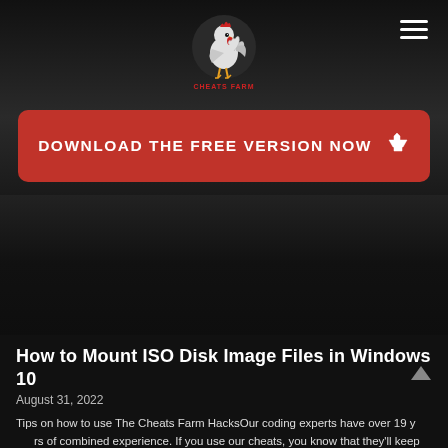[Figure (logo): Cheats Farm logo — cartoon rooster mascot with text 'CHEATS FARM' below, on dark background]
[Figure (infographic): Hamburger menu icon (three horizontal white lines) in top-right corner]
DOWNLOAD THE FREE VERSION NOW
How to Mount ISO Disk Image Files in Windows 10
August 31, 2022
Tips on how to use The Cheats Farm HacksOur coding experts have over 19 years of combined experience. If you use our cheats, you know that they'll keep you safe while letting you win every round. It is necessary you realize that any at any time it can be found and we extremely advise the